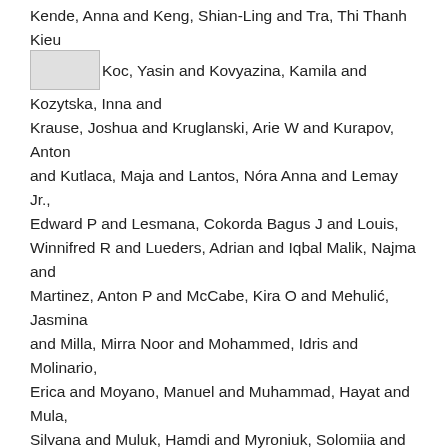Kende, Anna and Keng, Shian-Ling and Tra, Thi Thanh Kieu and Koc, Yasin and Kovyazina, Kamila and Kozytska, Inna and Krause, Joshua and Kruglanski, Arie W and Kurapov, Anton and Kutlaca, Maja and Lantos, Nóra Anna and Lemay Jr., Edward P and Lesmana, Cokorda Bagus J and Louis, Winnifred R and Lueders, Adrian and Iqbal Malik, Najma and Martinez, Anton P and McCabe, Kira O and Mehulić, Jasmina and Milla, Mirra Noor and Mohammed, Idris and Molinario, Erica and Moyano, Manuel and Muhammad, Hayat and Mula, Silvana and Muluk, Hamdi and Myroniuk, Solomiia and Najafi, Reza and Nisa, Claudia F and Nyúl, Boglárka and O'Keefe, Paul A and Osuna, Jose Javier Olivas and Osin, Evgeny N and Park, Joonha and Pica, Gennaro and Pierro, Antonio and Rees, Jonas H and Reitsema, Anne Margit and Resta, Elena and Rullo, Marika and Ryan, Michelle K and Samekin, Adil and Santilla, Pekka and Sasin, Edyta and Schumpe, Birga M and Selim, Heyla A and Stanton, Michael Vicente and Sultana, Samiah and Sutton, Robbie M and Tseliou, Eleftheria and Utsugi, Akira and van Breen, Jolien A and Van Veen, Kees and Vázquez, Alexandra and Wollast, Robin and Yeung, Victoria Wai-lan and Zand, Samueh and Žeželj, Iris Lav and Zhang,